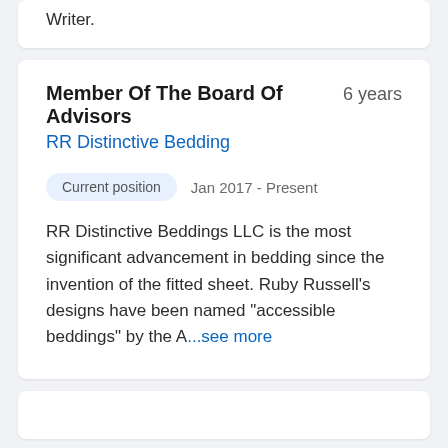Writer.
Member Of The Board Of Advisors  6 years
RR Distinctive Bedding
Current position   Jan 2017 - Present
RR Distinctive Beddings LLC is the most significant advancement in bedding since the invention of the fitted sheet. Ruby Russell's designs have been named "accessible beddings" by the A...see more